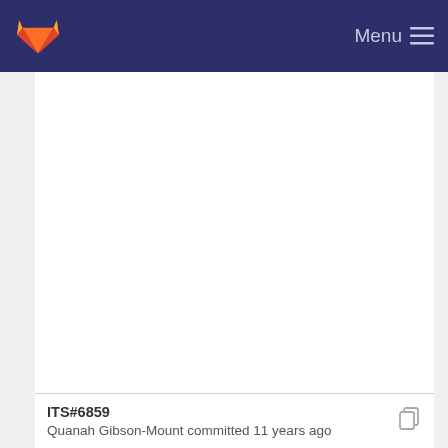GitLab — Menu
ITS#6845
Quanah Gibson-Mount committed 11 years ago
ITS#6859
Quanah Gibson-Mount committed 11 years ago